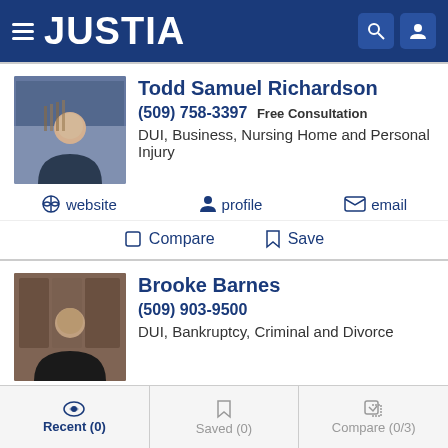JUSTIA
Todd Samuel Richardson
(509) 758-3397 Free Consultation
DUI, Business, Nursing Home and Personal Injury
website | profile | email
Compare | Save
Brooke Barnes
(509) 903-9500
DUI, Bankruptcy, Criminal and Divorce
website | profile | email
Recent (0) | Saved (0) | Compare (0/3)